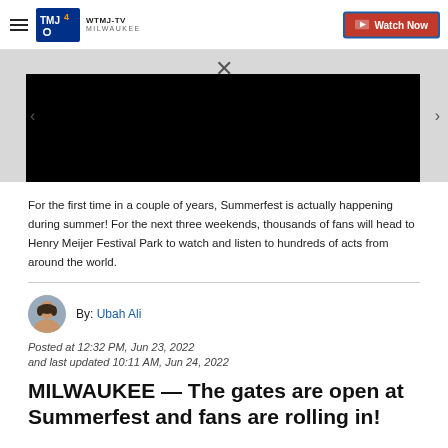WTMJ-TV MILWAUKEE | Watch Now
[Figure (screenshot): Video player embedded in webpage showing a black video frame with gray navigation bar above containing a close X button and left/right arrows]
For the first time in a couple of years, Summerfest is actually happening during summer! For the next three weekends, thousands of fans will head to Henry Meijer Festival Park to watch and listen to hundreds of acts from around the world.
By: Ubah Ali
Posted at 12:32 PM, Jun 23, 2022
and last updated 10:11 AM, Jun 24, 2022
MILWAUKEE — The gates are open at Summerfest and fans are rolling in!